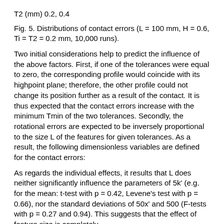T2 (mm) 0.2, 0.4
Fig. 5. Distributions of contact errors (L = 100 mm, H = 0.6, Ti = T2 = 0.2 mm, 10,000 runs).
Two initial considerations help to predict the influence of the above factors. First, if one of the tolerances were equal to zero, the corresponding profile would coincide with its highpoint plane; therefore, the other profile could not change its position further as a result of the contact. It is thus expected that the contact errors increase with the minimum Tmin of the two tolerances. Secondly, the rotational errors are expected to be inversely proportional to the size L of the features for given tolerances. As a result, the following dimensionless variables are defined for the contact errors:
As regards the individual effects, it results that L does neither significantly influence the parameters of 5k' (e.g. for the mean: t-test with p = 0.42, Levene's test with p = 0.66), nor the standard deviations of 50x' and 500 (F-tests with p = 0.27 and 0.94). This suggests that the effect of feature size is completely